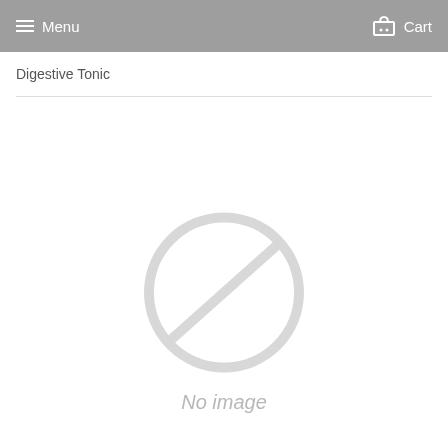Menu  Cart
Digestive Tonic
[Figure (illustration): No image placeholder icon — a circle with a diagonal line through it (prohibition symbol) in light gray, with italic text 'No image' below it]